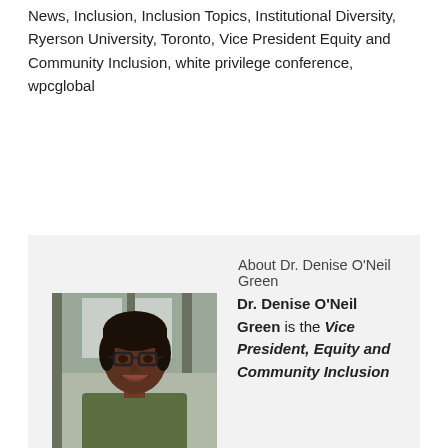Tagged With: Diversity, Dr. Denise O'Neil Green, Equity, Equity News, Inclusion, Inclusion Topics, Institutional Diversity, Ryerson University, Toronto, Vice President Equity and Community Inclusion, white privilege conference, wpcglobal
[Figure (photo): Headshot photo of Dr. Denise O'Neil Green, a woman wearing glasses, smiling]
About Dr. Denise O'Neil Green
Dr. Denise O'Neil Green is the Vice President, Equity and Community Inclusion and Associate Professor in Child and Youth Care in the Faculty of Community Services at Ryerson University in Toronto, Ontario. She began her appointment as Assistant Vice-President/Vice-Provost, Equity Diversity and Inclusion in September of 2012. In 2017, she